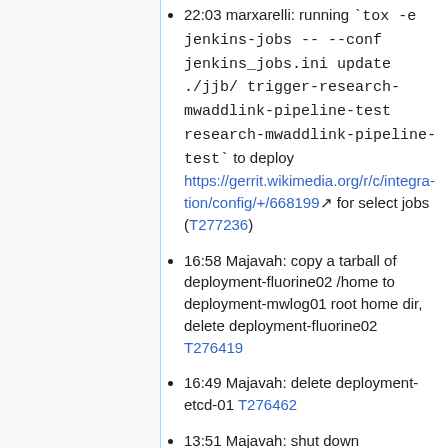22:03 marxarelli: running `tox -e jenkins-jobs -- --conf jenkins_jobs.ini update ./jjb/ trigger-research-mwaddlink-pipeline-test research-mwaddlink-pipeline-test` to deploy https://gerrit.wikimedia.org/r/c/integration/config/+/668199 for select jobs (T277236)
16:58 Majavah: copy a tarball of deployment-fluorine02 /home to deployment-mwlog01 root home dir, delete deployment-fluorine02 T276419
16:49 Majavah: delete deployment-etcd-01 T276462
13:51 Majavah: shut down deployment-db06, now unused T277070
13:48 Majavah: set deployment-db07 as r/w T277070